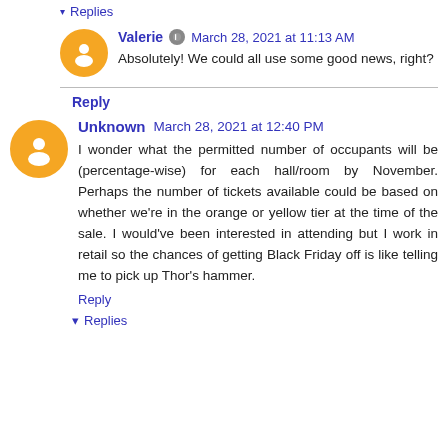▾ Replies
Valerie 🔘 March 28, 2021 at 11:13 AM
Absolutely! We could all use some good news, right?
Reply
Unknown March 28, 2021 at 12:40 PM
I wonder what the permitted number of occupants will be (percentage-wise) for each hall/room by November. Perhaps the number of tickets available could be based on whether we're in the orange or yellow tier at the time of the sale. I would've been interested in attending but I work in retail so the chances of getting Black Friday off is like telling me to pick up Thor's hammer.
Reply
▾ Replies